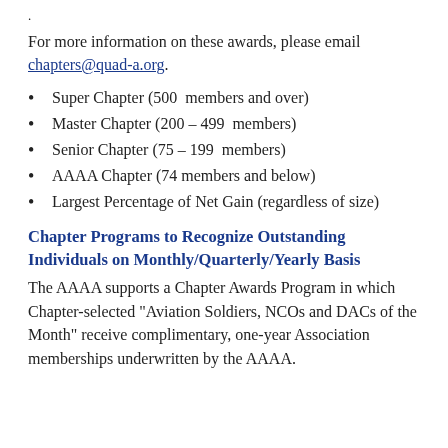.
For more information on these awards, please email chapters@quad-a.org.
Super Chapter (500  members and over)
Master Chapter (200 – 499  members)
Senior Chapter (75 – 199  members)
AAAA Chapter (74 members and below)
Largest Percentage of Net Gain (regardless of size)
Chapter Programs to Recognize Outstanding Individuals on Monthly/Quarterly/Yearly Basis
The AAAA supports a Chapter Awards Program in which Chapter-selected "Aviation Soldiers, NCOs and DACs of the Month" receive complimentary, one-year Association memberships underwritten by the AAAA.